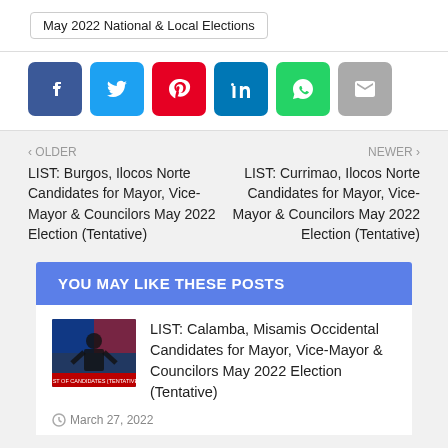May 2022 National & Local Elections
[Figure (other): Social media share buttons: Facebook, Twitter, Pinterest, LinkedIn, WhatsApp, Email]
< OLDER
LIST: Burgos, Ilocos Norte Candidates for Mayor, Vice-Mayor & Councilors May 2022 Election (Tentative)
NEWER >
LIST: Currimao, Ilocos Norte Candidates for Mayor, Vice-Mayor & Councilors May 2022 Election (Tentative)
YOU MAY LIKE THESE POSTS
[Figure (photo): Thumbnail image for Calamba, Misamis Occidental candidates article showing a silhouette figure with Philippine flag background and text LIST OF CANDIDATES (TENTATIVE)]
LIST: Calamba, Misamis Occidental Candidates for Mayor, Vice-Mayor & Councilors May 2022 Election (Tentative)
March 27, 2022